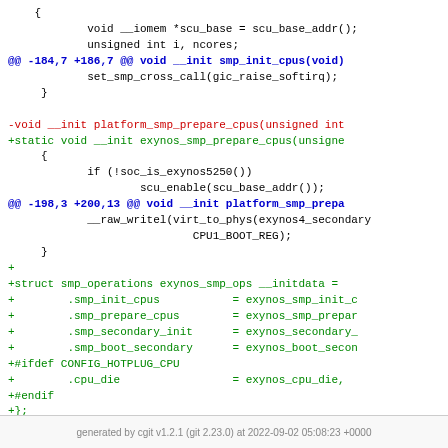diff code block showing git patch for exynos SMP operations
generated by cgit v1.2.1 (git 2.23.0) at 2022-09-02 05:08:23 +0000